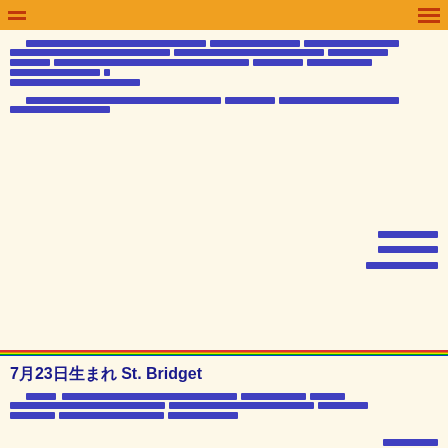[navigation header with menu icon]
[redacted text block 1]
[redacted text block 2]
[redacted link item 1]
[redacted link item 2]
[redacted link item 3]
7月23日生まれ St. Bridget
[redacted text block lower]
[redacted link bottom]